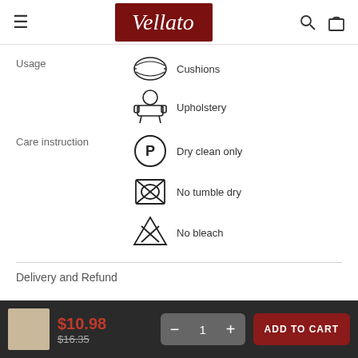Vellato (logo header with search and cart icons)
Usage — Cushions
Usage — Upholstery
Care instruction — Dry clean only
Care instruction — No tumble dry
Care instruction — No bleach
Delivery and Refund
$10.98  $16.35  1  ADD TO CART